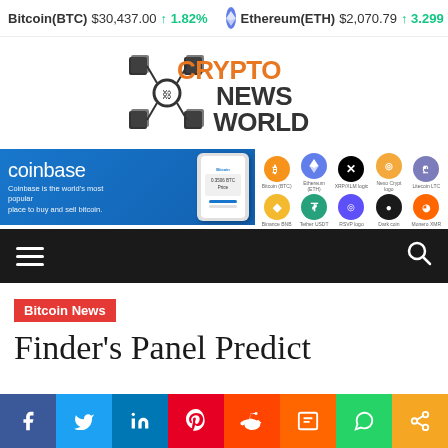Bitcoin(BTC) $30,437.00 ↑ 1.82% Ethereum(ETH) $2,070.79 ↑ 3.299%
[Figure (logo): Crypto News World logo with blockchain cube icon]
[Figure (screenshot): Coinbase advertisement banner alongside cryptocurrency icons grid]
[Figure (infographic): Dark navigation bar with hamburger menu and search icon]
Bitcoin News
Finder's Panel Predict
[Figure (infographic): Social media share buttons: Facebook, Twitter, LinkedIn, Pinterest, Reddit, Mix, WhatsApp, Share]